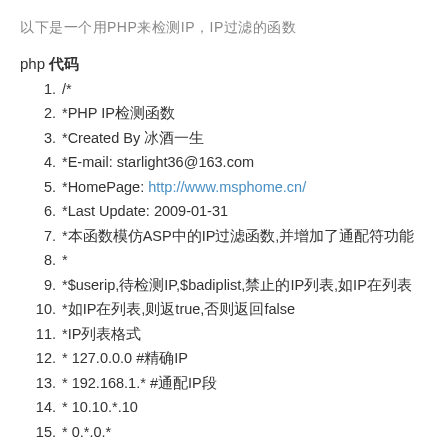以下是一个用PHP来检测IP，IP过滤的函数
php 代码
1. /*
2. *PHP IP检测函数
3. *Created By 冰酒一生
4. *E-mail: starlight36@163.com
5. *HomePage: http://www.msphome.cn/
6. *Last Update: 2009-01-31
7. *本函数模仿ASP中的IP过滤函数,并增加了通配符功能
8. *
9. *$userip,待检测IP,$badiplist,禁止的IP列表,如IP在列表
10. *如IP在列表,则返true,否则返回false
11. *IP列表格式
12. * 127.0.0.0 #精确IP
13. * 192.168.1.* #通配IP段
14. * 10.10.*.10
15. * 0.*.0.*